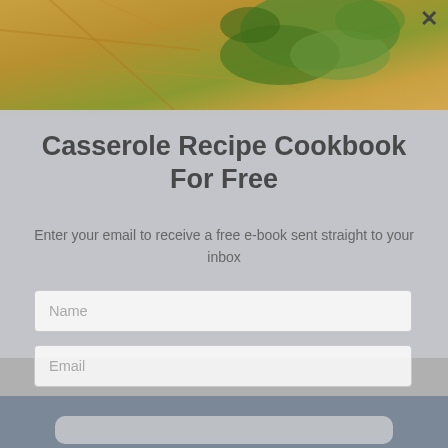[Figure (photo): Food photo at top showing noodles/casserole dish with green herb garnish (cilantro)]
Casserole Recipe Cookbook For Free
Enter your email to receive a free e-book sent straight to your inbox
Name
Email
You can unsubscribe anytime. For more details, review our Privacy Policy.
[Figure (photo): Food/casserole photo at the bottom of the page partially visible]